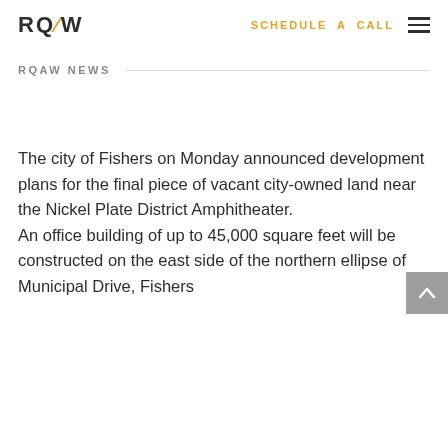RQAW   SCHEDULE A CALL   ≡
RQAW NEWS
The city of Fishers on Monday announced development plans for the final piece of vacant city-owned land near the Nickel Plate District Amphitheater. An office building of up to 45,000 square feet will be constructed on the east side of the northern ellipse of Municipal Drive, Fishers